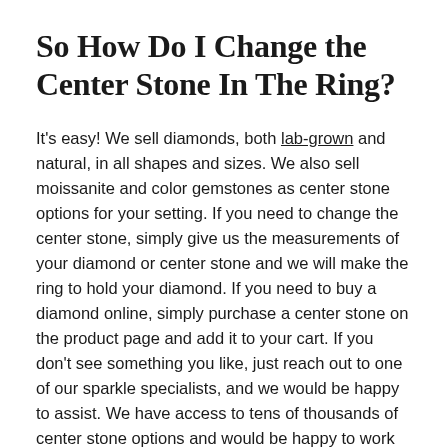So How Do I Change the Center Stone In The Ring?
It's easy! We sell diamonds, both lab-grown and natural, in all shapes and sizes. We also sell moissanite and color gemstones as center stone options for your setting. If you need to change the center stone, simply give us the measurements of your diamond or center stone and we will make the ring to hold your diamond. If you need to buy a diamond online, simply purchase a center stone on the product page and add it to your cart. If you don't see something you like, just reach out to one of our sparkle specialists, and we would be happy to assist. We have access to tens of thousands of center stone options and would be happy to work with you to locate the stone of your dreams. We can send you 360-degree videos of one or a selection of diamonds